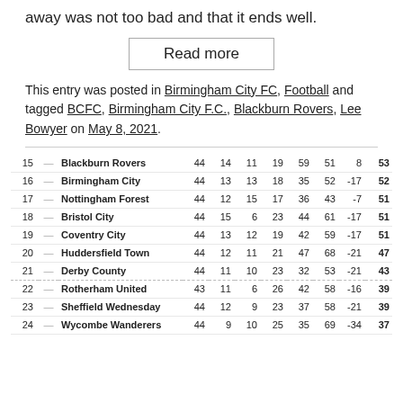away was not too bad and that it ends well.
Read more
This entry was posted in Birmingham City FC, Football and tagged BCFC, Birmingham City F.C., Blackburn Rovers, Lee Bowyer on May 8, 2021.
| Pos |  | Team | P | W | D | L | F | A | GD | Pts |
| --- | --- | --- | --- | --- | --- | --- | --- | --- | --- | --- |
| 15 | — | Blackburn Rovers | 44 | 14 | 11 | 19 | 59 | 51 | 8 | 53 |
| 16 | — | Birmingham City | 44 | 13 | 13 | 18 | 35 | 52 | -17 | 52 |
| 17 | — | Nottingham Forest | 44 | 12 | 15 | 17 | 36 | 43 | -7 | 51 |
| 18 | — | Bristol City | 44 | 15 | 6 | 23 | 44 | 61 | -17 | 51 |
| 19 | — | Coventry City | 44 | 13 | 12 | 19 | 42 | 59 | -17 | 51 |
| 20 | — | Huddersfield Town | 44 | 12 | 11 | 21 | 47 | 68 | -21 | 47 |
| 21 | — | Derby County | 44 | 11 | 10 | 23 | 32 | 53 | -21 | 43 |
| 22 | — | Rotherham United | 43 | 11 | 6 | 26 | 42 | 58 | -16 | 39 |
| 23 | — | Sheffield Wednesday | 44 | 12 | 9 | 23 | 37 | 58 | -21 | 39 |
| 24 | — | Wycombe Wanderers | 44 | 9 | 10 | 25 | 35 | 69 | -34 | 37 |